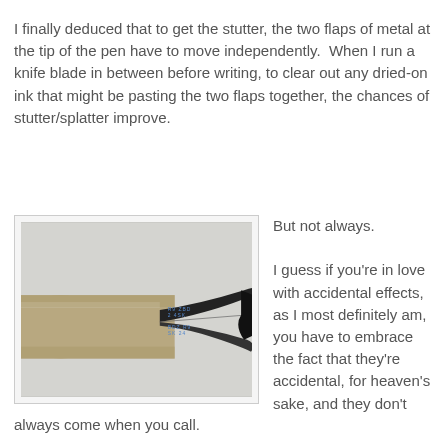I finally deduced that to get the stutter, the two flaps of metal at the tip of the pen have to move independently.  When I run a knife blade in between before writing, to clear out any dried-on ink that might be pasting the two flaps together, the chances of stutter/splatter improve.
[Figure (photo): Close-up photograph of a pen tip showing two metal flaps, with visible blue ink markings/text on the metal surface. The pen body is tan/brown and the tip flaps are dark with blue printed text.]
But not always.

I guess if you're in love with accidental effects, as I most definitely am, you have to embrace the fact that they're accidental, for heaven's sake, and they don't always come when you call.